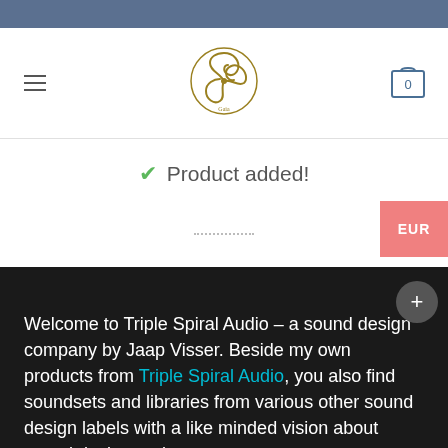[Figure (logo): Triple Spiral Audio logo — gold triskelion spiral in a circle]
[Figure (other): Shopping cart icon with number 0]
✔ Product added!
EUR
Welcome to Triple Spiral Audio – a sound design company by Jaap Visser. Beside my own products from Triple Spiral Audio, you also find soundsets and libraries from various other sound design labels with a like minded vision about sound design and